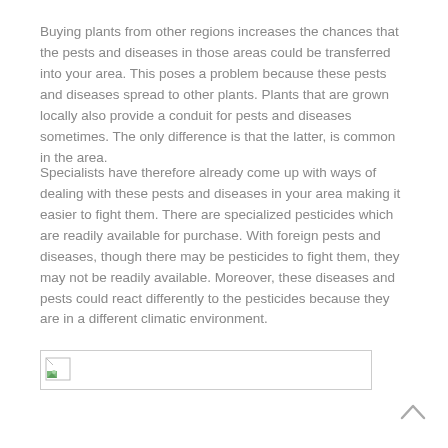Buying plants from other regions increases the chances that the pests and diseases in those areas could be transferred into your area. This poses a problem because these pests and diseases spread to other plants. Plants that are grown locally also provide a conduit for pests and diseases sometimes. The only difference is that the latter, is common in the area.
Specialists have therefore already come up with ways of dealing with these pests and diseases in your area making it easier to fight them. There are specialized pesticides which are readily available for purchase. With foreign pests and diseases, though there may be pesticides to fight them, they may not be readily available. Moreover, these diseases and pests could react differently to the pesticides because they are in a different climatic environment.
[Figure (other): A broken image placeholder icon with a small green and white icon in the top-left corner and a horizontal bar outline]